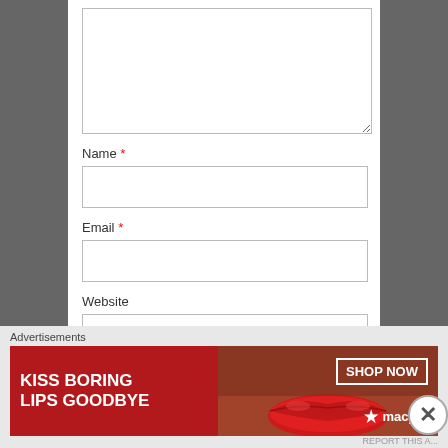Name *
Email *
Website
Post Comment
Advertisements
[Figure (photo): Macy's advertisement banner: 'KISS BORING LIPS GOODBYE' with SHOP NOW button and Macy's star logo, featuring a woman with red lips]